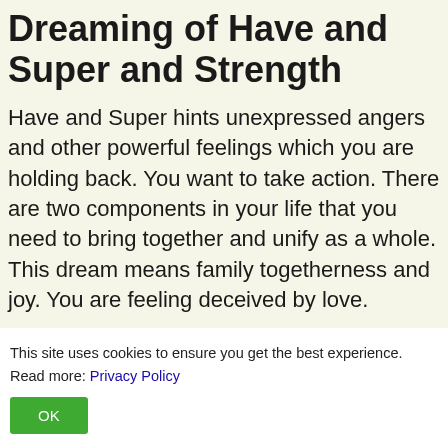Dreaming of Have and Super and Strength
Have and Super hints unexpressed angers and other powerful feelings which you are holding back. You want to take action. There are two components in your life that you need to bring together and unify as a whole. This dream means family togetherness and joy. You are feeling deceived by love.
This site uses cookies to ensure you get the best experience. Read more: Privacy Policy
OK